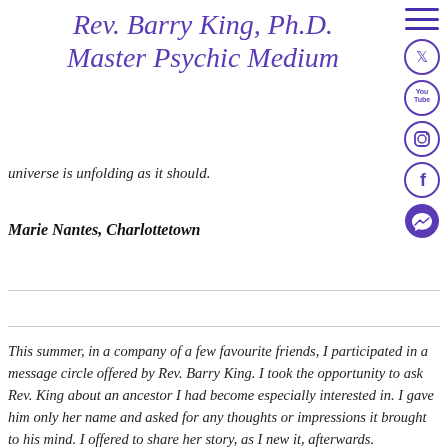Rev. Barry King, Ph.D. Master Psychic Medium
universe is unfolding as it should.
Marie Nantes, Charlottetown
This summer, in a company of a few favourite friends, I participated in a message circle offered by Rev. Barry King. I took the opportunity to ask Rev. King about an ancestor I had become especially interested in. I gave him only her name and asked for any thoughts or impressions it brought to his mind. I offered to share her story, as I new it, afterwards.